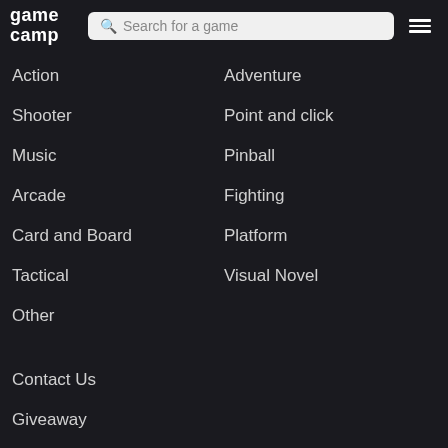game camp | Search for a game | menu
Action
Adventure
Shooter
Point and click
Music
Pinball
Arcade
Fighting
Card and Board
Platform
Tactical
Visual Novel
Other
Contact Us
Giveaway
Blog